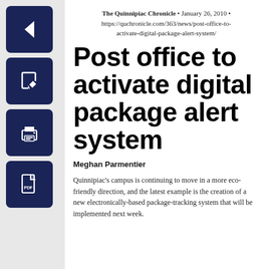[Figure (other): Left sidebar with four dark navy icon buttons: back arrow, edit/pencil, print, and PDF document icons]
The Quinnipiac Chronicle • January 26, 2010 • https://quchronicle.com/363/news/post-office-to-activate-digital-package-alert-system/
Post office to activate digital package alert system
Meghan Parmentier
Quinnipiac's campus is continuing to move in a more eco-friendly direction, and the latest example is the creation of a new electronically-based package-tracking system that will be implemented next week.